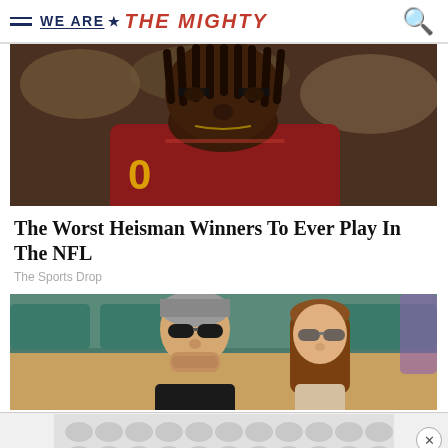WE ARE ★ THE MIGHTY
[Figure (photo): NFL player in burgundy/red uniform with dreadlocks, looking downward, with black eye black under eyes]
The Worst Heisman Winners To Ever Play In The NFL
The Sports Drop
[Figure (photo): Two people sitting in stadium seats — a man with gray hair wearing sunglasses and a woman with long brown hair wearing sunglasses]
[Figure (other): Advertisement banner with repeating circular/oval gray pattern]